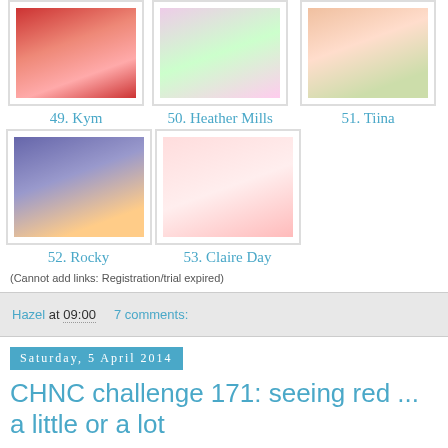[Figure (photo): Thumbnail image 49 - card with red flower/lady illustration]
49. Kym
[Figure (photo): Thumbnail image 50 - card with Christmas tree and striped decorations]
50. Heather Mills
[Figure (photo): Thumbnail image 51 - card with robin bird on branch with red flowers]
51. Tiina
[Figure (photo): Thumbnail image 52 - purple/blue card with We Three Kings text]
52. Rocky
[Figure (photo): Thumbnail image 53 - white card with red birdhouse and decorative border]
53. Claire Day
(Cannot add links: Registration/trial expired)
Hazel at 09:00    7 comments:
Saturday, 5 April 2014
CHNC challenge 171: seeing red ... a little or a lot